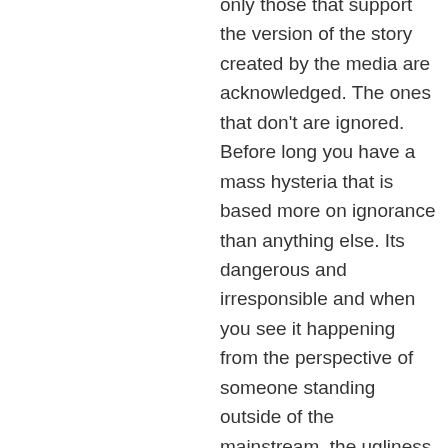only those that support the version of the story created by the media are acknowledged. The ones that don't are ignored. Before long you have a mass hysteria that is based more on ignorance than anything else. Its dangerous and irresponsible and when you see it happening from the perspective of someone standing outside of the mainstream, the ugliness